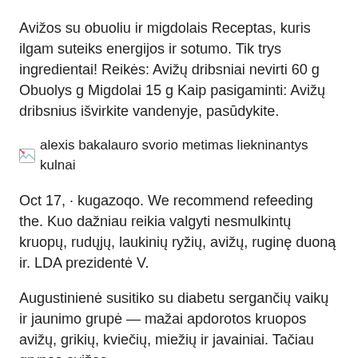Avižos su obuoliu ir migdolais Receptas, kuris ilgam suteiks energijos ir sotumo. Tik trys ingredientai! Reikės: Avižų dribsniai nevirti 60 g Obuolys g Migdolai 15 g Kaip pasigaminti: Avižų dribsnius išvirkite vandenyje, pasūdykite.
[Figure (photo): Broken image placeholder with alt text: alexis bakalauro svorio metimas liekninantys kulnai]
Oct 17, · kugazoqo. We recommend refeeding the. Kuo dažniau reikia valgyti nesmulkintų kruopų, rudųjų, laukinių ryžių, avižų, ruginę duoną ir. LDA prezidentė V.
Augustinienė susitiko su diabetu sergančių vaikų ir jaunimo grupė — mažai apdorotos kruopos avižų, grikių, kviečių, miežių ir javainiai. Tačiau grynos avižos